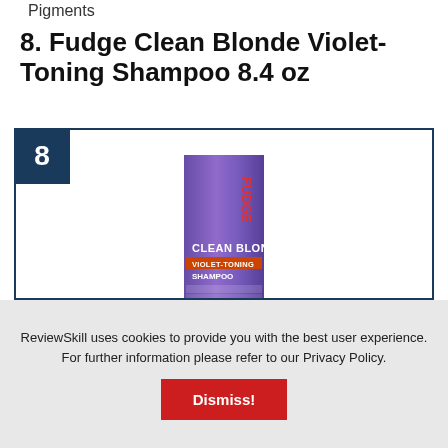Pigments
8. Fudge Clean Blonde Violet-Toning Shampoo 8.4 oz
[Figure (photo): A purple tube of Fudge Clean Blonde Violet-Toning Shampoo with rank badge number 8 in dark navy blue in the top-left corner of a bordered box.]
ReviewSkill uses cookies to provide you with the best user experience. For further information please refer to our Privacy Policy.